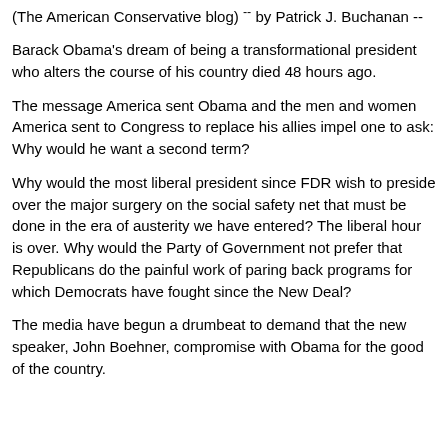(The American Conservative blog) -- by Patrick J. Buchanan --
Barack Obama's dream of being a transformational president who alters the course of his country died 48 hours ago.
The message America sent Obama and the men and women America sent to Congress to replace his allies impel one to ask: Why would he want a second term?
Why would the most liberal president since FDR wish to preside over the major surgery on the social safety net that must be done in the era of austerity we have entered? The liberal hour is over. Why would the Party of Government not prefer that Republicans do the painful work of paring back programs for which Democrats have fought since the New Deal?
The media have begun a drumbeat to demand that the new speaker, John Boehner, compromise with Obama for the good of the country.